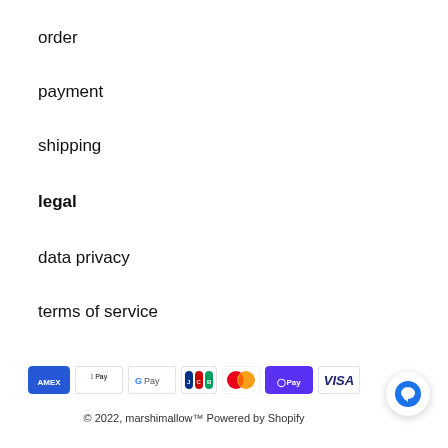order
payment
shipping
legal
data privacy
terms of service
[Figure (logo): Payment method icons: AMEX, Apple Pay, Google Pay, JCB, Mastercard, Shop Pay, VISA]
© 2022, marshimallow™ Powered by Shopify